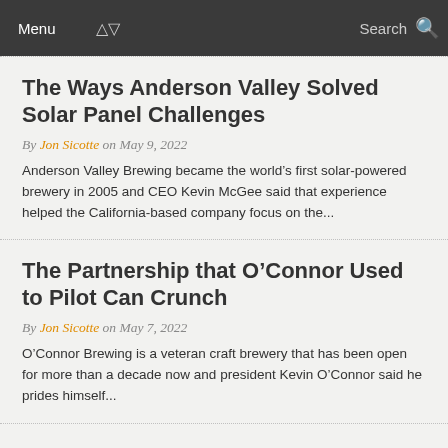Menu | Search
The Ways Anderson Valley Solved Solar Panel Challenges
By Jon Sicotte on May 9, 2022
Anderson Valley Brewing became the world’s first solar-powered brewery in 2005 and CEO Kevin McGee said that experience helped the California-based company focus on the...
The Partnership that O’Connor Used to Pilot Can Crunch
By Jon Sicotte on May 7, 2022
O’Connor Brewing is a veteran craft brewery that has been open for more than a decade now and president Kevin O’Connor said he prides himself...